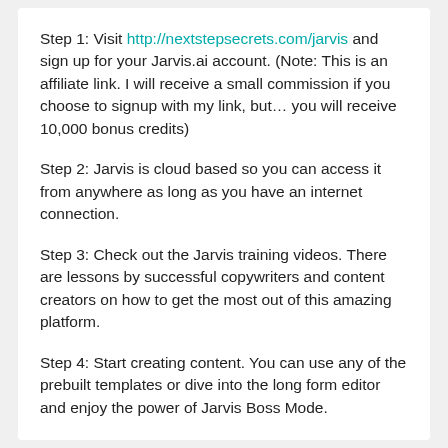Step 1: Visit http://nextstepsecrets.com/jarvis and sign up for your Jarvis.ai account. (Note: This is an affiliate link. I will receive a small commission if you choose to signup with my link, but… you will receive 10,000 bonus credits)
Step 2: Jarvis is cloud based so you can access it from anywhere as long as you have an internet connection.
Step 3: Check out the Jarvis training videos. There are lessons by successful copywriters and content creators on how to get the most out of this amazing platform.
Step 4: Start creating content. You can use any of the prebuilt templates or dive into the long form editor and enjoy the power of Jarvis Boss Mode.